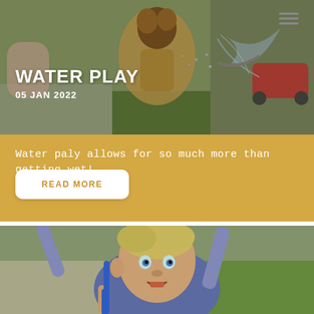[Figure (photo): Children playing with water outdoors in a playground, with water spraying. Appears to be a summer water play activity. Background shows playground equipment and green grass.]
WATER PLAY
05 JAN 2022
Water paly allows for so much more than getting wet!
READ MORE
[Figure (photo): A young toddler with blonde hair looking upward with an open mouth, holding a blue object (possibly a hose or stick), standing outdoors on grass. The child appears happy and engaged in outdoor play.]